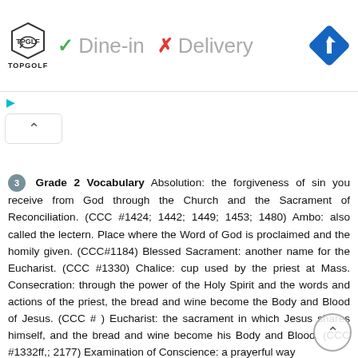[Figure (screenshot): Ad banner for Topgolf with logo, green checkmark Dine-in, red X Delivery text, and blue navigation diamond icon]
[Figure (screenshot): UI controls: cyan play triangle and cyan X icons, and a collapse/up-arrow button]
3 Grade 2 Vocabulary Absolution: the forgiveness of sin you receive from God through the Church and the Sacrament of Reconciliation. (CCC #1424; 1442; 1449; 1453; 1480) Ambo: also called the lectern. Place where the Word of God is proclaimed and the homily given. (CCC#1184) Blessed Sacrament: another name for the Eucharist. (CCC #1330) Chalice: cup used by the priest at Mass. Consecration: through the power of the Holy Spirit and the words and actions of the priest, the bread and wine become the Body and Blood of Jesus. (CCC # ) Eucharist: the sacrament in which Jesus shares himself, and the bread and wine become his Body and Blood. (CCC #1332ff,; 2177) Examination of Conscience: a prayerful way